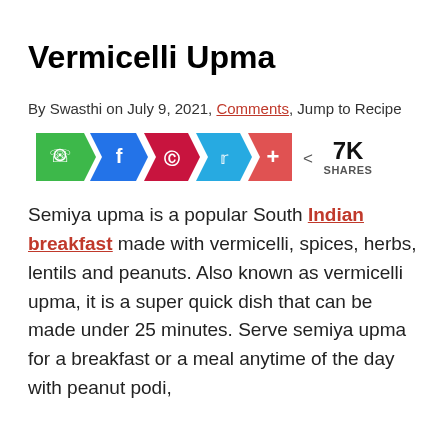Vermicelli Upma
By Swasthi on July 9, 2021, Comments, Jump to Recipe
[Figure (infographic): Social share buttons: WhatsApp (green), Facebook (blue), Pinterest (red), Twitter (light blue), More/Plus (salmon-red), with share count showing 7K SHARES]
Semiya upma is a popular South Indian breakfast made with vermicelli, spices, herbs, lentils and peanuts. Also known as vermicelli upma, it is a super quick dish that can be made under 25 minutes. Serve semiya upma for a breakfast or a meal anytime of the day with peanut podi,